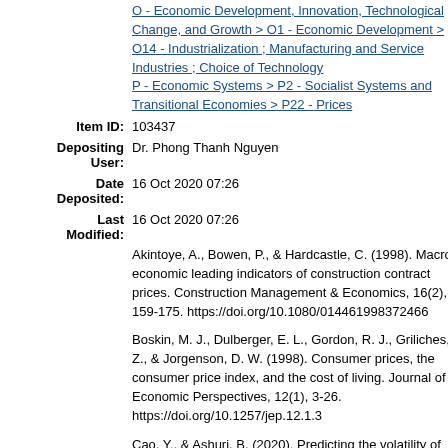O - Economic Development, Innovation, Technological Change, and Growth > O1 - Economic Development > O14 - Industrialization ; Manufacturing and Service Industries ; Choice of Technology P - Economic Systems > P2 - Socialist Systems and Transitional Economies > P22 - Prices
Item ID: 103437
Depositing User: Dr. Phong Thanh Nguyen
Date Deposited: 16 Oct 2020 07:26
Last Modified: 16 Oct 2020 07:26
Akintoye, A., Bowen, P., & Hardcastle, C. (1998). Macro-economic leading indicators of construction contract prices. Construction Management & Economics, 16(2), 159-175. https://doi.org/10.1080/014461998372466
Boskin, M. J., Dulberger, E. L., Gordon, R. J., Griliches, Z., & Jorgenson, D. W. (1998). Consumer prices, the consumer price index, and the cost of living. Journal of Economic Perspectives, 12(1), 3-26. https://doi.org/10.1257/jep.12.1.3
Cao, Y., & Ashuri, B. (2020). Predicting the volatility of highway construction cost index using long short-term memory. Journal of Management in Engineering, 36(4). https://doi.org/10.1061/(ASCE)ME.1943-5479.0000784
da Silva, G. J. C., & Pirtouscheq, L. A. S. (2015). Basic interest